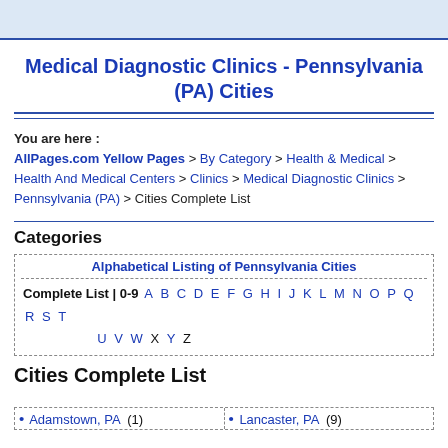Medical Diagnostic Clinics - Pennsylvania (PA) Cities
You are here : AllPages.com Yellow Pages > By Category > Health & Medical > Health And Medical Centers > Clinics > Medical Diagnostic Clinics > Pennsylvania (PA) > Cities Complete List
Categories
| Alphabetical Listing of Pennsylvania Cities |
| --- |
| Complete List | 0-9  A  B  C  D  E  F  G  H  I  J  K  L  M  N  O  P  Q  R  S  T  U  V  W  X  Y  Z |
Cities Complete List
| • Adamstown, PA (1) | • Lancaster, PA (9) |